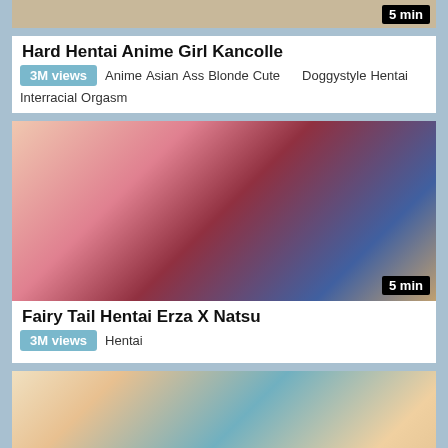[Figure (screenshot): Partial thumbnail of animated/hentai content at top of page]
Hard Hentai Anime Girl Kancolle
3M views  Anime  Asian  Ass  Blonde  Cute  Doggystyle  Hentai  Interracial  Orgasm
[Figure (screenshot): Thumbnail for Fairy Tail Hentai Erza X Natsu video, 5 min duration badge]
Fairy Tail Hentai Erza X Natsu
3M views  Hentai
[Figure (screenshot): Partial thumbnail of third video at bottom of page]